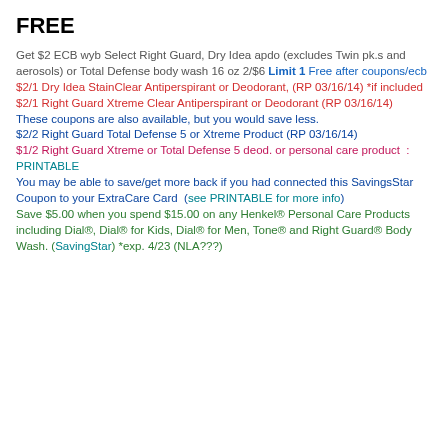FREE
Get $2 ECB wyb Select Right Guard, Dry Idea apdo (excludes Twin pk.s and aerosols) or Total Defense body wash 16 oz 2/$6 Limit 1 Free after coupons/ecb
$2/1 Dry Idea StainClear Antiperspirant or Deodorant, (RP 03/16/14) *if included
$2/1 Right Guard Xtreme Clear Antiperspirant or Deodorant (RP 03/16/14)
These coupons are also available, but you would save less.
$2/2 Right Guard Total Defense 5 or Xtreme Product (RP 03/16/14)
$1/2 Right Guard Xtreme or Total Defense 5 deod. or personal care product  : PRINTABLE
You may be able to save/get more back if you had connected this SavingsStar Coupon to your ExtraCare Card  (see PRINTABLE for more info)
Save $5.00 when you spend $15.00 on any Henkel® Personal Care Products including Dial®, Dial® for Kids, Dial® for Men, Tone® and Right Guard® Body Wash. (SavingStar) *exp. 4/23 (NLA???)